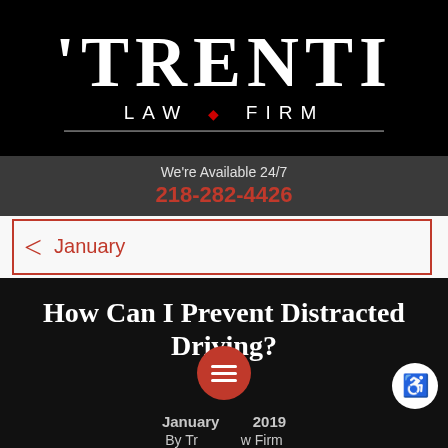[Figure (logo): Trenti Law Firm logo — white text on black background with 'TRENTI' large and 'LAW • FIRM' below]
We're Available 24/7
218-282-4426
January
How Can I Prevent Distracted Driving?
January 2019
By Trenti Law Firm